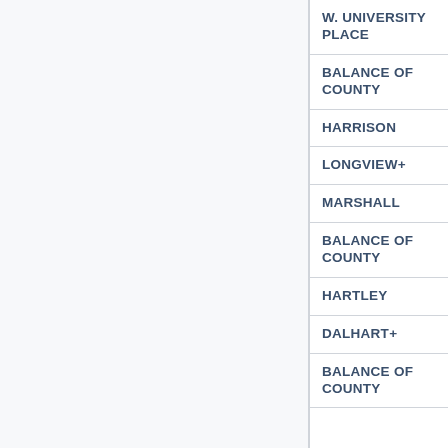| Place |
| --- |
| W. UNIVERSITY PLACE |
| BALANCE OF COUNTY |
| HARRISON |
| LONGVIEW+ |
| MARSHALL |
| BALANCE OF COUNTY |
| HARTLEY |
| DALHART+ |
| BALANCE OF COUNTY |